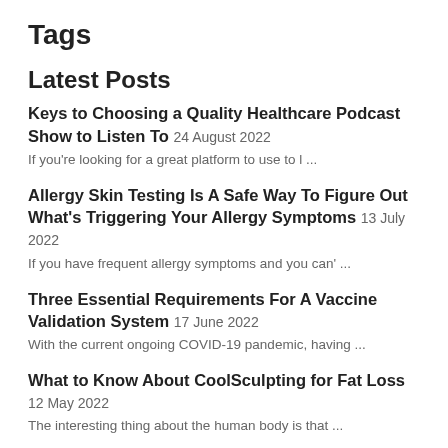Tags
Latest Posts
Keys to Choosing a Quality Healthcare Podcast Show to Listen To 24 August 2022
If you're looking for a great platform to use to l ...
Allergy Skin Testing Is A Safe Way To Figure Out What's Triggering Your Allergy Symptoms 13 July 2022
If you have frequent allergy symptoms and you can' ...
Three Essential Requirements For A Vaccine Validation System 17 June 2022
With the current ongoing COVID-19 pandemic, having ...
What to Know About CoolSculpting for Fat Loss 12 May 2022
The interesting thing about the human body is that ...